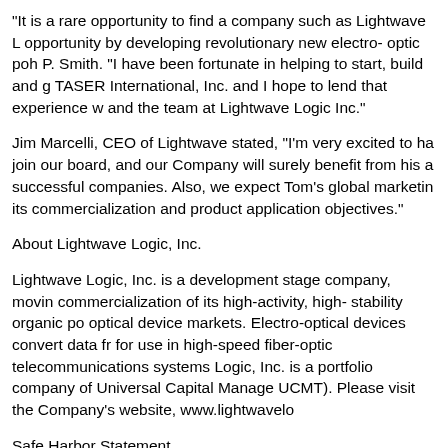"It is a rare opportunity to find a company such as Lightwave L... opportunity by developing revolutionary new electro- optic poh... P. Smith. "I have been fortunate in helping to start, build and g... TASER International, Inc. and I hope to lend that experience w... and the team at Lightwave Logic Inc."
Jim Marcelli, CEO of Lightwave stated, "I'm very excited to ha... join our board, and our Company will surely benefit from his a... successful companies. Also, we expect Tom's global marketin... its commercialization and product application objectives."
About Lightwave Logic, Inc.
Lightwave Logic, Inc. is a development stage company, movin... commercialization of its high-activity, high- stability organic po... optical device markets. Electro-optical devices convert data fr... for use in high-speed fiber-optic telecommunications systems... Logic, Inc. is a portfolio company of Universal Capital Manage... UCMT). Please visit the Company's website, www.lightwavelo...
Safe Harbor Statement
The information posted in this release may contain forward-lo... of the Private Securities Litigation Reform Act of 1995. You ca...